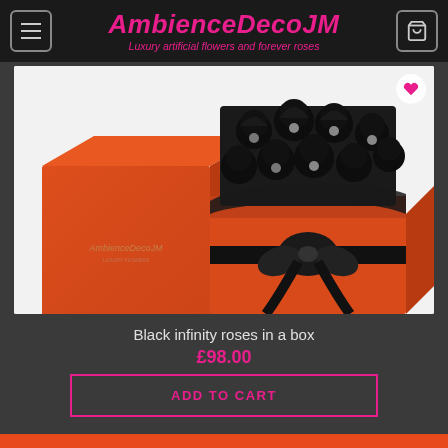AmbienceDecoJM – Luxury artificial flowers and forever roses
[Figure (photo): Orange gift box containing black infinity roses with pearl accents and black satin ribbon bow, with lid beside it, on white background]
Black infinity roses in a box
£98.00
ADD TO CART